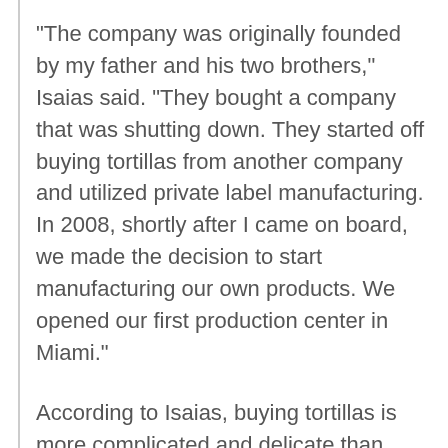"The company was originally founded by my father and his two brothers," Isaias said. "They bought a company that was shutting down. They started off buying tortillas from another company and utilized private label manufacturing. In 2008, shortly after I came on board, we made the decision to start manufacturing our own products. We opened our first production center in Miami."
According to Isaias, buying tortillas is more complicated and delicate than you'd expect. The impetus for going into manufacturing was a lack of consistency and quality. Simply buying the product, and